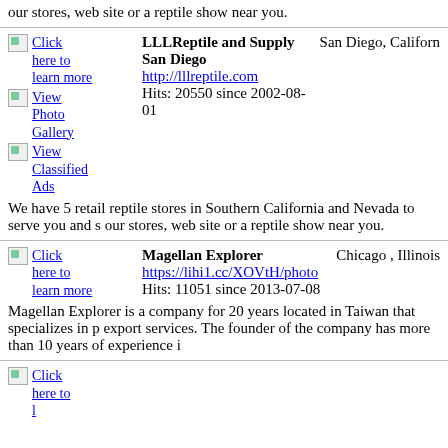our stores, web site or a reptile show near you.
[Figure (screenshot): Click here to learn more link with placeholder image]
[Figure (screenshot): View Photo Gallery link with placeholder image]
[Figure (screenshot): View Classified Ads link with placeholder image]
LLLReptile and Supply San Diego
http://lllreptile.com
Hits: 20550 since 2002-08-01
San Diego, California
We have 5 retail reptile stores in Southern California and Nevada to serve you and s our stores, web site or a reptile show near you.
[Figure (screenshot): Click here to learn more link with placeholder image]
Magellan Explorer
https://lihi1.cc/XOVtH/photo
Hits: 11051 since 2013-07-08
Chicago , Illinois
Magellan Explorer is a company for 20 years located in Taiwan that specializes in p export services. The founder of the company has more than 10 years of experience i
[Figure (screenshot): Click here to learn more link with placeholder image (bottom, partial)]